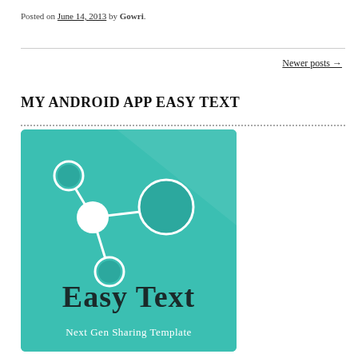Posted on June 14, 2013 by Gowri.
Newer posts →
MY ANDROID APP EASY TEXT
[Figure (logo): Easy Text app logo on teal background with a share/network icon (three nodes connected by lines) and text 'Easy Text' and 'Next Gen Sharing Template']